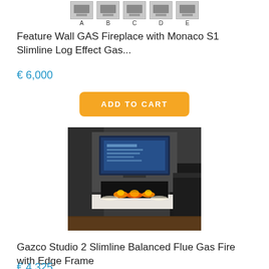[Figure (photo): Row of 5 product thumbnail images labeled A, B, C, D, E showing fireplace units]
Feature Wall GAS Fireplace with Monaco S1 Slimline Log Effect Gas...
€ 6,000
ADD TO CART
[Figure (photo): Photo of a modern gas fireplace (Gazco Studio 2 Slimline Balanced Flue) installed in a wall below a flat-screen TV, with glowing flames and spotlights, dark living room interior]
Gazco Studio 2 Slimline Balanced Flue Gas Fire with Edge Frame
€ 4,325